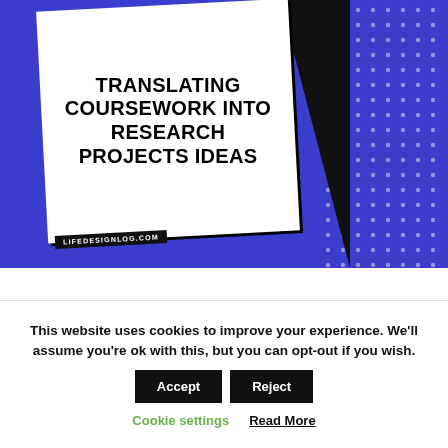[Figure (illustration): Blue background graphic with a tilted white card displaying bold uppercase text 'TRANSLATING COURSEWORK INTO RESEARCH PROJECTS IDEAS' with a site label 'LIFEDESIGNLOG.COM' and decorative black triangle and dotted pattern on the right.]
This website uses cookies to improve your experience. We'll assume you're ok with this, but you can opt-out if you wish.
Accept
Reject
Cookie settings
Read More